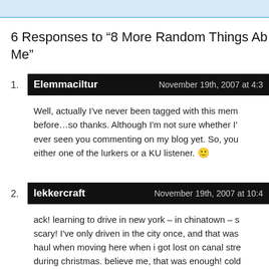6 Responses to “8 More Random Things About Me”
Elemmaciltur — November 19th, 2007 at 4:3…
Well, actually I’ve never been tagged with this meme before…so thanks. Although I’m not sure whether I’ve ever seen you commenting on my blog yet. So, you’re either one of the lurkers or a KU listener. 🙂
lekkercraft — November 19th, 2007 at 10:4…
ack! learning to drive in new york – in chinatown – scary! I’ve only driven in the city once, and that was a haul when moving here when i got lost on canal street during christmas. believe me, that was enough! cold impressed.